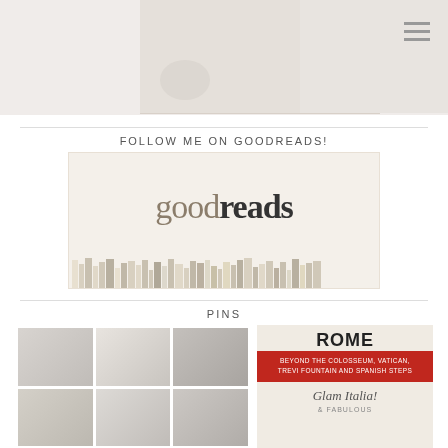[Figure (photo): Top partial image of a styled flat lay or table setting, mostly cropped, light background with soft objects]
☰ (hamburger menu icon)
FOLLOW ME ON GOODREADS!
[Figure (photo): Goodreads logo image showing 'goodreads' text in mixed brown and dark lettering over a cream background, with a row of book spines along the bottom]
PINS
[Figure (photo): Grid of 6 food photography images showing plated dishes at a restaurant]
[Figure (photo): Book cover for 'ROME - Beyond the Colosseum, Vatican, Trevi Fountain and Spanish Steps' with Glam Italia branding and red band]